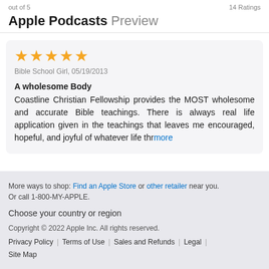out of 5   14 Ratings
Apple Podcasts Preview
[Figure (other): Five gold star rating icons]
Bible School Girl, 05/19/2013
A wholesome Body
Coastline Christian Fellowship provides the MOST wholesome and accurate Bible teachings. There is always real life application given in the teachings that leaves me encouraged, hopeful, and joyful of whatever life thr more
More ways to shop: Find an Apple Store or other retailer near you. Or call 1-800-MY-APPLE.

Choose your country or region

Copyright © 2022 Apple Inc. All rights reserved.

Privacy Policy | Terms of Use | Sales and Refunds | Legal | Site Map